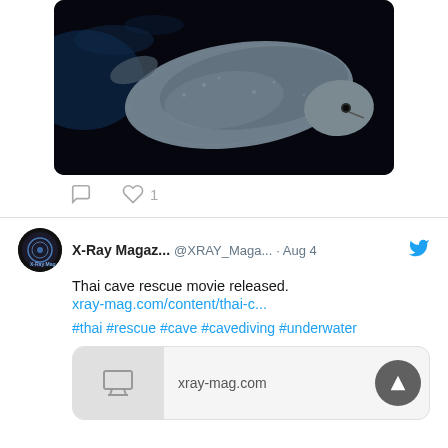[Figure (photo): Underwater photo of a large fish (appears to be a Greenland shark) swimming in dark water, viewed from above/side angle]
comment icon  heart icon  1
X-Ray Magaz... @XRAY_Maga... · Aug 4
Thai cave rescue movie released.
xray-mag.com/content/thai-c...
#thai #rescue #cave #cavediving #underwater
xray-mag.com